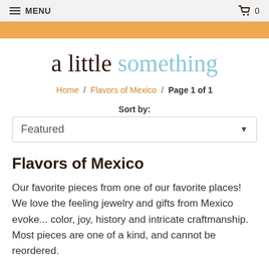MENU | 0
a little something
Home / Flavors of Mexico / Page 1 of 1
Sort by:
Featured
Flavors of Mexico
Our favorite pieces from one of our favorite places! We love the feeling jewelry and gifts from Mexico evoke... color, joy, history and intricate craftmanship. Most pieces are one of a kind, and cannot be reordered.